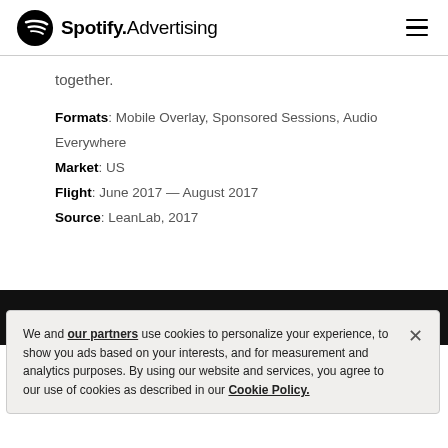Spotify Advertising
together.
Formats: Mobile Overlay, Sponsored Sessions, Audio Everywhere
Market: US
Flight: June 2017 — August 2017
Source: LeanLab, 2017
We and our partners use cookies to personalize your experience, to show you ads based on your interests, and for measurement and analytics purposes. By using our website and services, you agree to our use of cookies as described in our Cookie Policy.